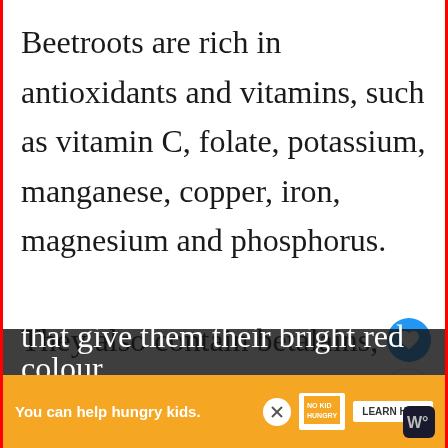Beetroots are rich in antioxidants and vitamins, such as vitamin C, folate, potassium, manganese, copper, iron, magnesium and phosphorus. They also contain betalains, compounds that give them their bright red colour.
[Figure (screenshot): Heart (like) button — circular blue button with white heart icon]
[Figure (screenshot): Share button — circular white button with blue share icon]
[Figure (screenshot): What's Next panel showing a food image thumbnail and text 'WHAT'S NEXT → What happens if you eat....']
[Figure (screenshot): Advertisement banner: orange background, 'You can help hungry kids.' with No Kid Hungry logo and LEARN HOW button]